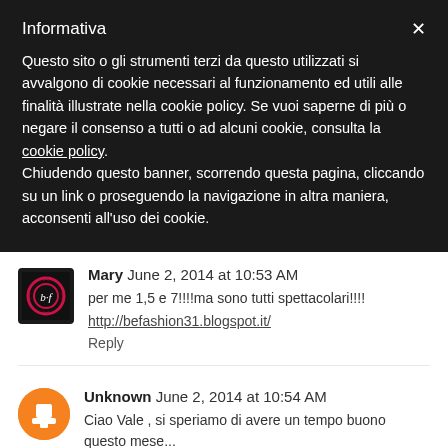Informativa
Questo sito o gli strumenti terzi da questo utilizzati si avvalgono di cookie necessari al funzionamento ed utili alle finalità illustrate nella cookie policy. Se vuoi saperne di più o negare il consenso a tutti o ad alcuni cookie, consulta la cookie policy. Chiudendo questo banner, scorrendo questa pagina, cliccando su un link o proseguendo la navigazione in altra maniera, acconsenti all'uso dei cookie.
Mary  June 2, 2014 at 10:53 AM
per me 1,5 e 7!!!!ma sono tutti spettacolari!!!!
http://befashion31.blogspot.it/
Reply
Unknown  June 2, 2014 at 10:54 AM
Ciao Vale , si speriamo di avere un tempo buono questo mese...